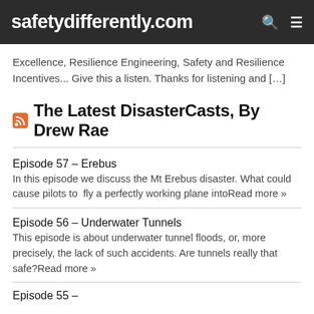safetydifferently.com
Excellence, Resilience Engineering, Safety and Resilience Incentives... Give this a listen. Thanks for listening and […]
The Latest DisasterCasts, By Drew Rae
Episode 57 – Erebus
In this episode we discuss the Mt Erebus disaster. What could cause pilots to  fly a perfectly working plane intoRead more »
Episode 56 – Underwater Tunnels
This episode is about underwater tunnel floods, or, more precisely, the lack of such accidents. Are tunnels really that safe?Read more »
Episode 55 –